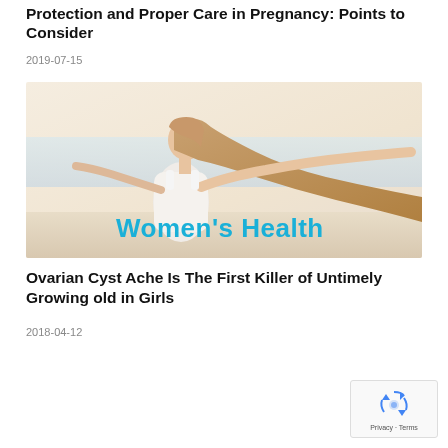Protection and Proper Care in Pregnancy: Points to Consider
2019-07-15
[Figure (photo): Woman in white dress on beach with arms outstretched, hair flowing, with 'Women's Health' text overlay in bold cyan/blue font]
Ovarian Cyst Ache Is The First Killer of Untimely Growing old in Girls
2018-04-12